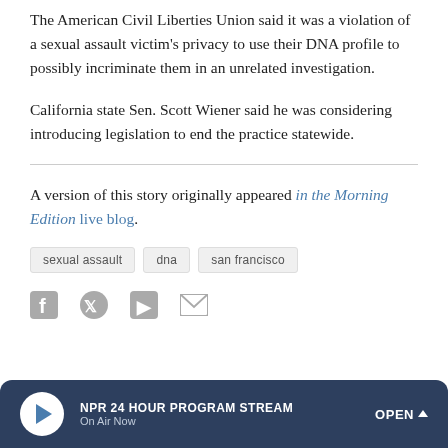The American Civil Liberties Union said it was a violation of a sexual assault victim's privacy to use their DNA profile to possibly incriminate them in an unrelated investigation.
California state Sen. Scott Wiener said he was considering introducing legislation to end the practice statewide.
A version of this story originally appeared in the Morning Edition live blog.
sexual assault
dna
san francisco